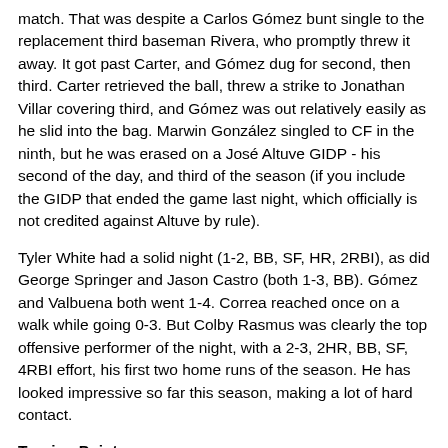match.  That was despite a Carlos Gómez bunt single to the replacement third baseman Rivera, who promptly threw it away.  It got past Carter, and Gómez dug for second, then third.  Carter retrieved the ball, threw a strike to Jonathan Villar covering third, and Gómez was out relatively easily as he slid into the bag.  Marwin González singled to CF in the ninth, but he was erased on a José Altuve GIDP - his second of the day, and third of the season (if you include the GIDP that ended the game last night, which officially is not credited against Altuve by rule).
Tyler White had a solid night (1-2, BB, SF, HR, 2RBI), as did George Springer and Jason Castro (both 1-3, BB).  Gómez and Valbuena both went 1-4.  Correa reached once on a walk while going 0-3.  But Colby Rasmus was clearly the top offensive performer of the night, with a 2-3, 2HR, BB, SF, 4RBI effort, his first two home runs of the season.  He has looked impressive so far this season, making a lot of hard contact.
Turning Point:
Back-to-back jacks put the Astros out of reach in the fifth.